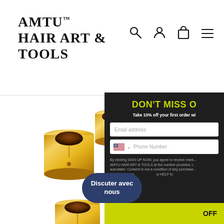AMTU™ HAIR ART & TOOLS
[Figure (screenshot): Navigation icons: search, user account, shopping bag, and hamburger menu]
[Figure (photo): Gold/brass cylindrical dreadlock hair beads with hollow center, three visible at different sizes]
[Figure (screenshot): Email newsletter popup modal with dark background. Title: DON'T MISS O... Subtitle: Take 10% off your first order wi... Email address input field. Phone number input with US flag. Legal disclaimer text. Chat bubble: Discuter avec nous. Yellow button: OFF]
DON'T MISS O
Take 10% off your first order wi
Email address
Phone Number
By clicking SIGN UP NOW, you agree to receive mark... AMTU HAIR ART & TOOLS at the number provided, i... autodialer. Consent is not a condition of any purchase... may apply. Mes... ly HELP fo
Discuter avec nous
OFF